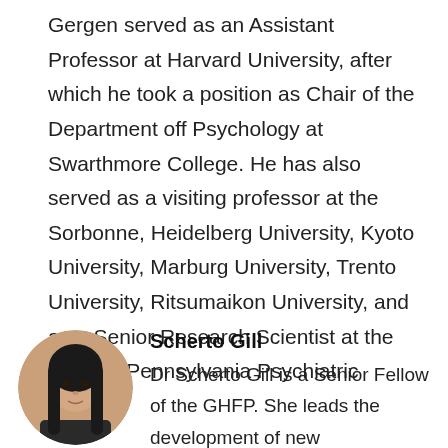Gergen served as an Assistant Professor at Harvard University, after which he took a position as Chair of the Department off Psychology at Swarthmore College. He has also served as a visiting professor at the Sorbonne, Heidelberg University, Kyoto University, Marburg University, Trento University, Ritsumaikon University, and as a Senior Research Scientist at the Eastern Pennsylvania Psychiatric Institute.
[Figure (photo): Circular headshot photo of Scherto Gill, a woman with long dark hair]
Scherto Gill
Dr Scherto Gill is a Senior Fellow of the GHFP. She leads the development of new